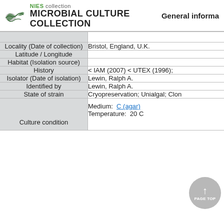NIES collection MICROBIAL CULTURE COLLECTION  General informa
| Field | Value |
| --- | --- |
| Locality (Date of collection) | Bristol, England, U.K. |
| Latitude / Longitude |  |
| Habitat (Isolation source) |  |
| History | < IAM (2007) < UTEX (1996); |
| Isolator (Date of isolation) | Lewin, Ralph A. |
| Identified by | Lewin, Ralph A. |
| State of strain | Cryopreservation; Unialgal; Clon |
| Culture condition | Medium: C (agar)
Temperature: 20 C |